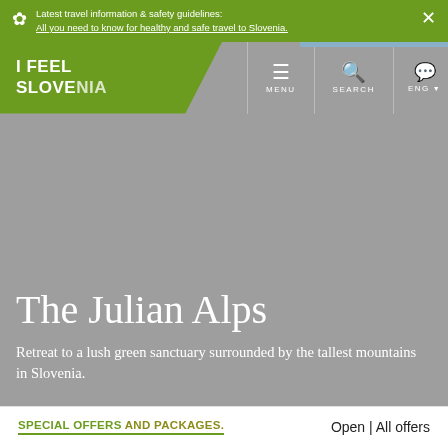Latest travel information & safety guidelines: All you need to know for healthy and safe travel to Slovenia.
[Figure (screenshot): I Feel Slovenia website navigation bar with logo, menu, search, and language selector]
The Julian Alps
Retreat to a lush green sanctuary surrounded by the tallest mountains in Slovenia.
SPECIAL OFFERS AND PACKAGES.
Open | All offers